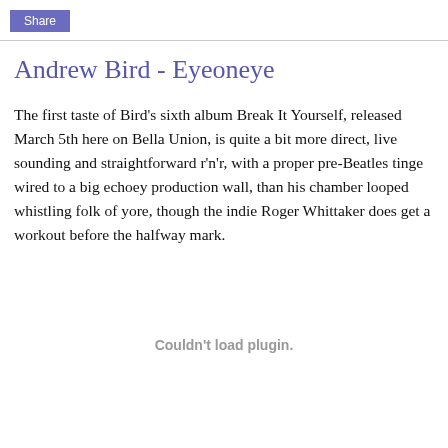Share
Andrew Bird - Eyeoneye
The first taste of Bird's sixth album Break It Yourself, released March 5th here on Bella Union, is quite a bit more direct, live sounding and straightforward r'n'r, with a proper pre-Beatles tinge wired to a big echoey production wall, than his chamber looped whistling folk of yore, though the indie Roger Whittaker does get a workout before the halfway mark.
Couldn't load plugin.